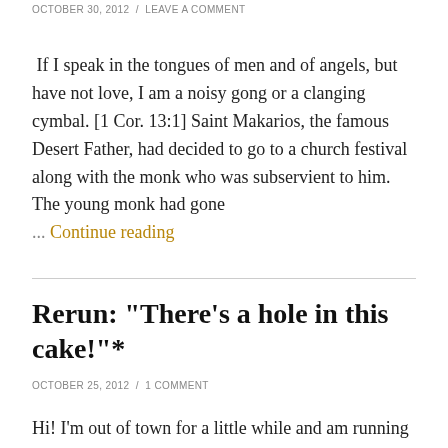OCTOBER 30, 2012 / LEAVE A COMMENT
If I speak in the tongues of men and of angels, but have not love, I am a noisy gong or a clanging cymbal. [1 Cor. 13:1] Saint Makarios, the famous Desert Father, had decided to go to a church festival along with the monk who was subservient to him. The young monk had gone … Continue reading
Rerun: "There's a hole in this cake!"*
OCTOBER 25, 2012 / 1 COMMENT
Hi! I'm out of town for a little while and am running